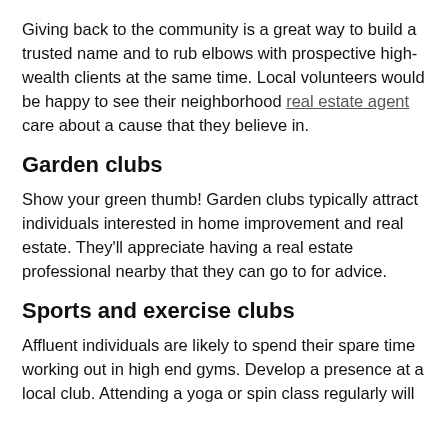Giving back to the community is a great way to build a trusted name and to rub elbows with prospective high-wealth clients at the same time. Local volunteers would be happy to see their neighborhood real estate agent care about a cause that they believe in.
Garden clubs
Show your green thumb! Garden clubs typically attract individuals interested in home improvement and real estate. They'll appreciate having a real estate professional nearby that they can go to for advice.
Sports and exercise clubs
Affluent individuals are likely to spend their spare time working out in high end gyms. Develop a presence at a local club. Attending a yoga or spin class regularly will